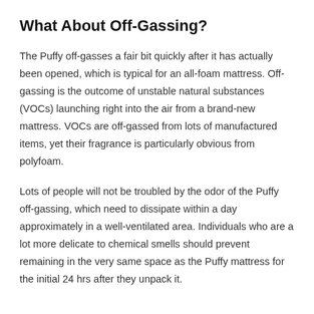What About Off-Gassing?
The Puffy off-gasses a fair bit quickly after it has actually been opened, which is typical for an all-foam mattress. Off-gassing is the outcome of unstable natural substances (VOCs) launching right into the air from a brand-new mattress. VOCs are off-gassed from lots of manufactured items, yet their fragrance is particularly obvious from polyfoam.
Lots of people will not be troubled by the odor of the Puffy off-gassing, which need to dissipate within a day approximately in a well-ventilated area. Individuals who are a lot more delicate to chemical smells should prevent remaining in the very same space as the Puffy mattress for the initial 24 hrs after they unpack it.